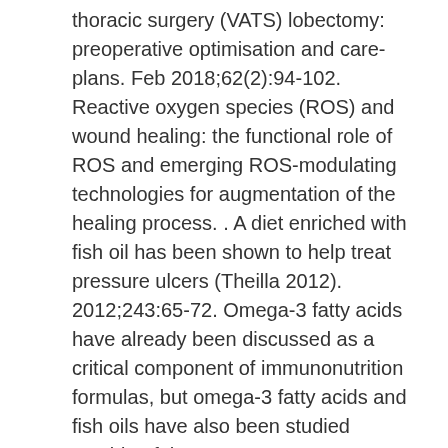thoracic surgery (VATS) lobectomy: preoperative optimisation and care-plans. Feb 2018;62(2):94-102. Reactive oxygen species (ROS) and wound healing: the functional role of ROS and emerging ROS-modulating technologies for augmentation of the healing process. . A diet enriched with fish oil has been shown to help treat pressure ulcers (Theilla 2012). 2012;243:65-72. Omega-3 fatty acids have already been discussed as a critical component of immunonutrition formulas, but omega-3 fatty acids and fish oils have also been studied outside of that context. MakeupAlley™ is a registered trademark of MUA, Inc. International journal of surgery (London, England). Jan 2011;8(1):10-14. Duyck J. Fluid mechanics of artificial heart valves. Flum DR. Preoperative Immunonutrition and Elective Colorectal Resection Outcomes. Inflammation and oxidative damage is one contributing factor (Boos...